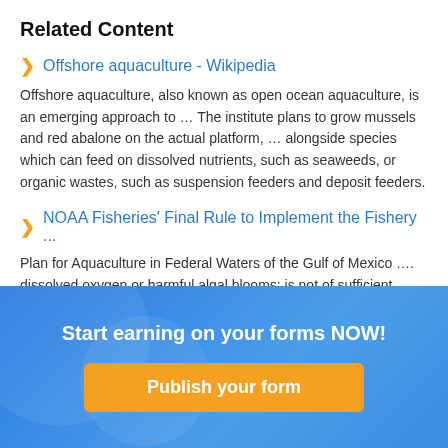Related Content
Offshore aquaculture - Wikipedia
Offshore aquaculture, also known as open ocean aquaculture, is an emerging approach to … The institute plans to grow mussels and red abalone on the actual platform, … alongside species which can feed on dissolved nutrients, such as seaweeds, or organic wastes, such as suspension feeders and deposit feeders.
NOAA Fisheries' Final Rule to Implement the Fishery ...
Plan for Aquaculture in Federal Waters of the Gulf of Mexico …. dissolved oxygen or harmful algal blooms; is not of sufficient depth for the approved aquaculture …
Start earning on your forms NOW!
Publish your form